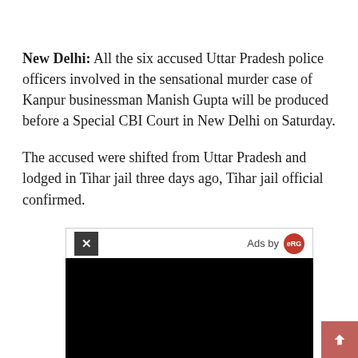New Delhi: All the six accused Uttar Pradesh police officers involved in the sensational murder case of Kanpur businessman Manish Gupta will be produced before a Special CBI Court in New Delhi on Saturday.
The accused were shifted from Uttar Pradesh and lodged in Tihar jail three days ago, Tihar jail official confirmed.
[Figure (other): Black advertisement overlay with close button (X) in top-left and 'Ads by eRG' logo in top-right corner. The main ad area is black/dark.]